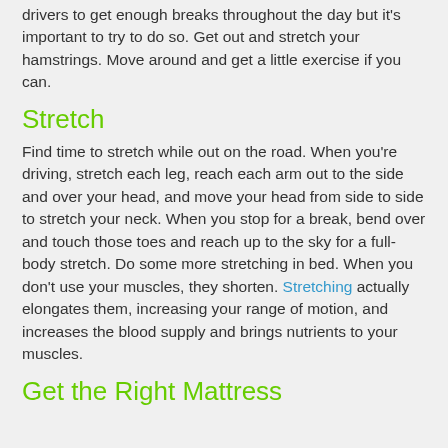drivers to get enough breaks throughout the day but it's important to try to do so.  Get out and stretch your hamstrings.  Move around and get a little exercise if you can.
Stretch
Find time to stretch while out on the road.  When you're driving, stretch each leg, reach each arm out to the side and over your head, and move your head from side to side to stretch your neck.  When you stop for a break, bend over and touch those toes and reach up to the sky for a full-body stretch.  Do some more stretching in bed.  When you don't use your muscles, they shorten.  Stretching actually elongates them, increasing your range of motion, and increases the blood supply and brings nutrients to your muscles.
Get the Right Mattress